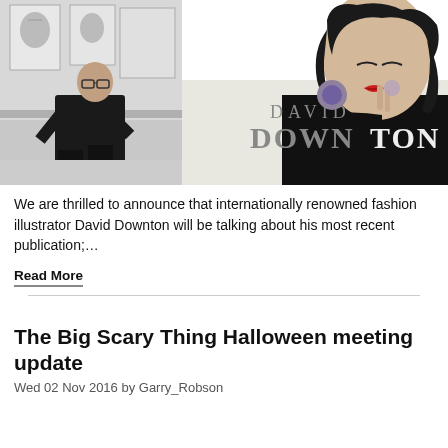[Figure (photo): Two images side by side: left is a black-and-white photo of a man (fashion illustrator David Downton) seated in a studio with drawings on the wall; right is a black-and-white illustration of a glamorous woman with red lips and the text 'DAVID DOWNTON' overlaid in large serif type]
We are thrilled to announce that internationally renowned fashion illustrator David Downton will be talking about his most recent publication;…
Read More
The Big Scary Thing Halloween meeting update
Wed 02 Nov 2016 by Garry_Robson